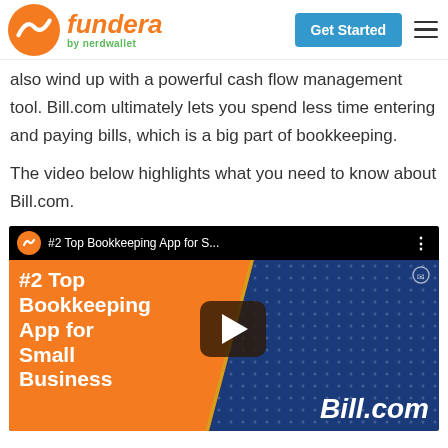fundera by nerdwallet — Get Started
also wind up with a powerful cash flow management tool. Bill.com ultimately lets you spend less time entering and paying bills, which is a big part of bookkeeping.
The video below highlights what you need to know about Bill.com.
[Figure (screenshot): YouTube video thumbnail showing '#2 Top Bookkeeping App for Small Business' with Fundera branding, orange and blue background, play button in center, and 'Bill.com' text at bottom right.]